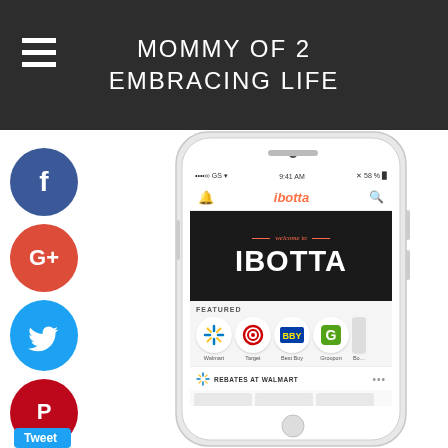MOMMY OF 2 EMBRACING LIFE
[Figure (screenshot): Screenshot of the Ibotta mobile app showing welcome banner, featured stores (Walmart, Target, Best Buy, Groupon), and Rebates at Walmart section, displayed inside a white smartphone frame.]
[Figure (infographic): Social media share buttons sidebar: Facebook, Google+, Twitter, Pinterest, Blogger, and a More button with Tweet label at the bottom.]